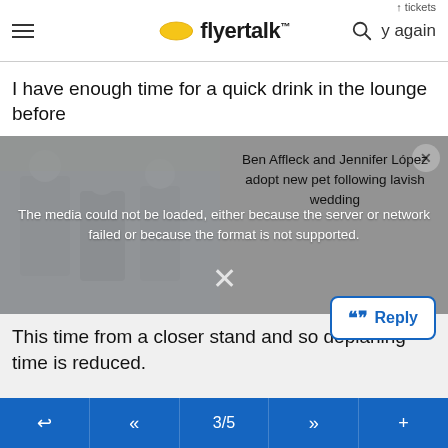flyertalk — y again
I have enough time for a quick drink in the lounge before
[Figure (screenshot): Media player with error overlay reading 'The media could not be loaded, either because the server or network failed or because the format is not supported.' An ad overlay shows 'Ben Affleck and Jennifer López adopt new pet following lavish wedding'. A photo of people is partially visible on the left.]
This time from a closer stand and so deplaning time is reduced.
I head back to the hotel where I am welcomed back by the same clerk who remembered me.
3/5